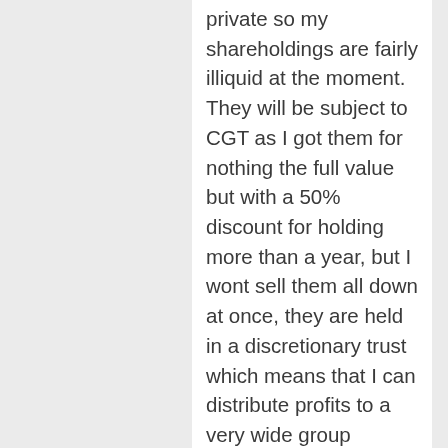private so my shareholdings are fairly illiquid at the moment. They will be subject to CGT as I got them for nothing the full value but with a 50% discount for holding more than a year, but I wont sell them all down at once, they are held in a discretionary trust which means that I can distribute profits to a very wide group minimizing tax liability and can spread it over financial years depending. I think they will either list or sell next year (liquidity event) that when I will work out how much to sell and distributions